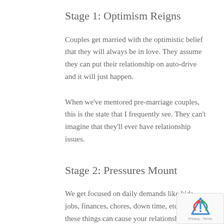Stage 1: Optimism Reigns
Couples get married with the optimistic belief that they will always be in love. They assume they can put their relationship on auto-drive and it will just happen.
When we've mentored pre-marriage couples, this is the state that I frequently see. They can't imagine that they'll ever have relationship issues.
Stage 2: Pressures Mount
We get focused on daily demands like kids, jobs, finances, chores, down time, etc. All of these things can cause your relationship to drift off course.
The relationship comes under stress because of the stressors in our lives.